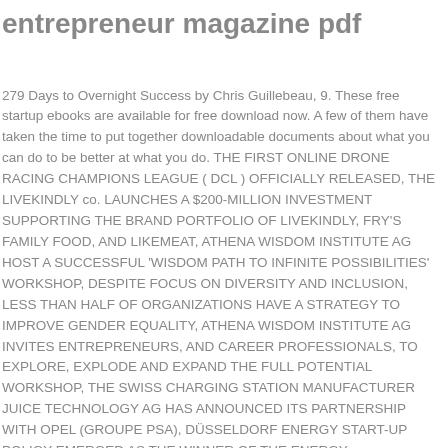entrepreneur magazine pdf
279 Days to Overnight Success by Chris Guillebeau, 9. These free startup ebooks are available for free download now. A few of them have taken the time to put together downloadable documents about what you can do to be better at what you do. THE FIRST ONLINE DRONE RACING CHAMPIONS LEAGUE ( DCL ) OFFICIALLY RELEASED, THE LIVEKINDLY co. LAUNCHES A $200-MILLION INVESTMENT SUPPORTING THE BRAND PORTFOLIO OF LIVEKINDLY, FRY'S FAMILY FOOD, AND LIKEMEAT, ATHENA WISDOM INSTITUTE AG HOST A SUCCESSFUL 'WISDOM PATH TO INFINITE POSSIBILITIES' WORKSHOP, DESPITE FOCUS ON DIVERSITY AND INCLUSION, LESS THAN HALF OF ORGANIZATIONS HAVE A STRATEGY TO IMPROVE GENDER EQUALITY, ATHENA WISDOM INSTITUTE AG INVITES ENTREPRENEURS, AND CAREER PROFESSIONALS, TO EXPLORE, EXPLODE AND EXPAND THE FULL POTENTIAL WORKSHOP, THE SWISS CHARGING STATION MANUFACTURER JUICE TECHNOLOGY AG HAS ANNOUNCED ITS PARTNERSHIP WITH OPEL (GROUPE PSA), DÜSSELDORF ENERGY START-UP POLIGY EMERGED AS THE WINNER OF THE ENERGY TURNAROUND